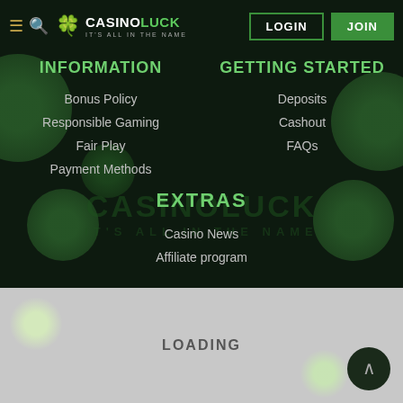CASINO LUCK - IT'S ALL IN THE NAME | LOGIN | JOIN
INFORMATION
Bonus Policy
Responsible Gaming
Fair Play
Payment Methods
GETTING STARTED
Deposits
Cashout
FAQs
EXTRAS
Casino News
Affiliate program
LOADING